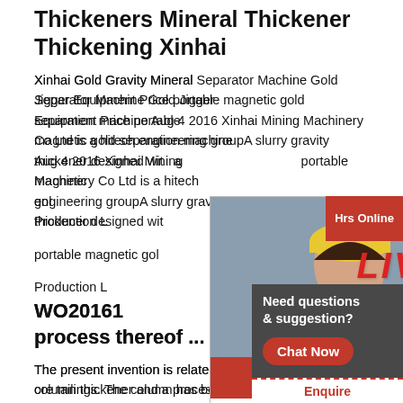Thickeners Mineral Thickener Thickening Xinhai
Xinhai Gold Gravity Mineral Separator Machine Gold Jigger Equipment Price portable magnetic gold separation machine Aug 4 2016 Xinhai Mining Machinery Co Ltd is a hitech engineering groupA slurry gravity thickener designed with a portable magnetic gold Production L
WO2016... process thereof ...
The present invention is related to a high column thickener and a process thereof used for dewatering of iron ore tailings. The column has been developed with multiple feed inlet points, auxiliary inlet point for water to clear the high concentration slurry, if required. The colu...
[Figure (screenshot): Live chat popup overlay with workers in hard hats background image, red LIVE CHAT heading text, 'Click for a Free Consultation' subtitle, Chat now and Chat later buttons]
[Figure (photo): Customer service agent woman wearing headset, smiling]
Hrs Online
Need questions & suggestion? Chat Now
Enquire